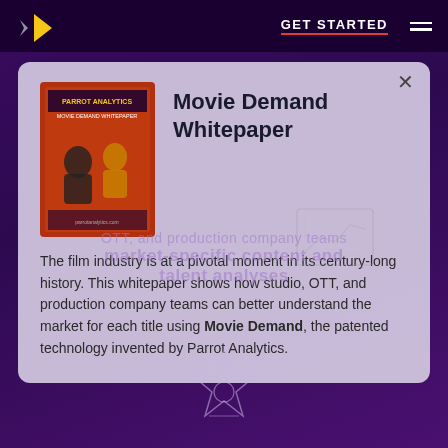GET STARTED
Movie Demand Whitepaper
The film industry is at a pivotal moment in its century-long history. This whitepaper shows how studio, OTT, and production company teams can better understand the market for each title using Movie Demand, the patented technology invented by Parrot Analytics.
[Figure (illustration): Book cover thumbnail for the Movie Demand Whitepaper]
[Figure (illustration): Star/talent icon outline at the bottom of the page]
[Figure (illustration): Watermark text overlay: OTT, and production company teams / market-specific content and / talent analyses]